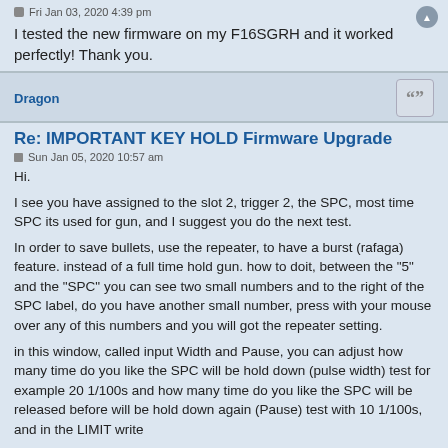Fri Jan 03, 2020 4:39 pm
I tested the new firmware on my F16SGRH and it worked perfectly! Thank you.
Dragon
Re: IMPORTANT KEY HOLD Firmware Upgrade
Sun Jan 05, 2020 10:57 am
Hi.
I see you have assigned to the slot 2, trigger 2, the SPC, most time SPC its used for gun, and I suggest you do the next test.
In order to save bullets, use the repeater, to have a burst (rafaga) feature. instead of a full time hold gun. how to doit, between the "5" and the "SPC" you can see two small numbers and to the right of the SPC label, do you have another small number, press with your mouse over any of this numbers and you will got the repeater setting.
in this window, called input Width and Pause, you can adjust how many time do you like the SPC will be hold down (pulse width) test for example 20 1/100s and how many time do you like the SPC will be released before will be hold down again (Pause) test with 10 1/100s, and in the LIMIT write